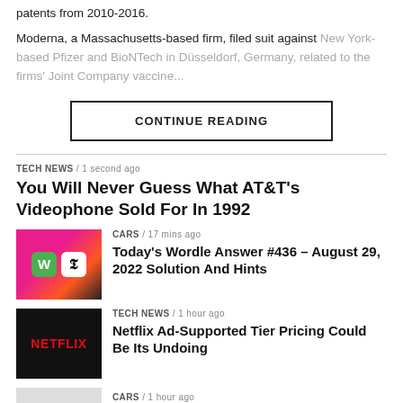patents from 2010-2016.
Moderna, a Massachusetts-based firm, filed suit against New York-based Pfizer and BioNTech in Düsseldorf, Germany, related to the firms' Joint Company vaccine...
CONTINUE READING
TECH NEWS / 1 second ago
You Will Never Guess What AT&T's Videophone Sold For In 1992
CARS / 17 mins ago
Today's Wordle Answer #436 – August 29, 2022 Solution And Hints
TECH NEWS / 1 hour ago
Netflix Ad-Supported Tier Pricing Could Be Its Undoing
CARS / 1 hour ago